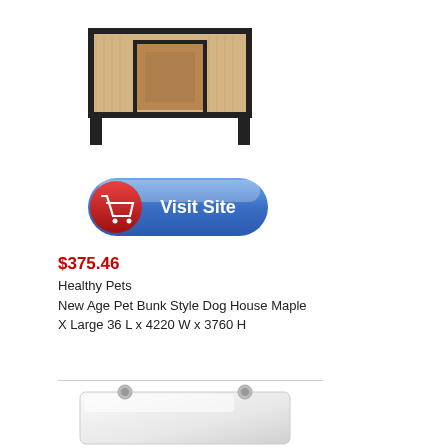[Figure (photo): Photo of a wooden bunk-style dog house with dark frame and open door, maple color, viewed from front]
[Figure (other): Blue 'Visit Site' button with red shopping cart icon on the left]
$375.46
Healthy Pets
New Age Pet Bunk Style Dog House Maple X Large 36 L x 4220 W x 3760 H
[Figure (photo): White rectangular plastic/acrylic panel with rounded corners and two mount holes at top, shown at slight angle]